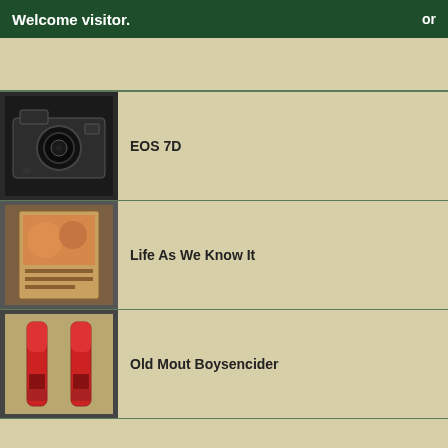Welcome visitor. or
EOS 7D
Life As We Know It
Old Mout Boysencider
Old Mout Scrumpy
Old Mout Feijoa & Cider
Old Mout Classic Apple
Hi-5 : Hey Presto